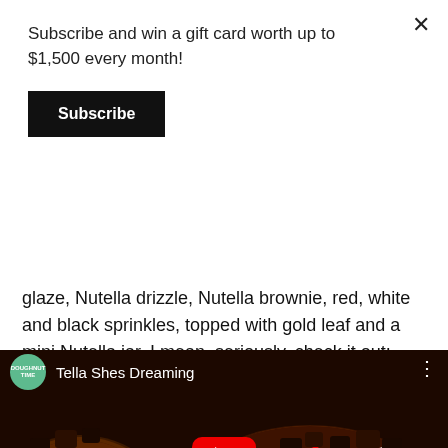Subscribe and win a gift card worth up to $1,500 every month!
Subscribe
glaze, Nutella drizzle, Nutella brownie, red, white and black sprinkles, topped with gold leaf and a mini Nutella jar. I mean, seriously, check it out:
[Figure (screenshot): YouTube video thumbnail showing chocolate Nutella donuts with red, white and black sprinkles on a cooling rack. Video title reads 'Tella Shes Dreaming'. Channel icon is a green circle with 'DOUGHNUT TIME' text. Red YouTube play button visible in center.]